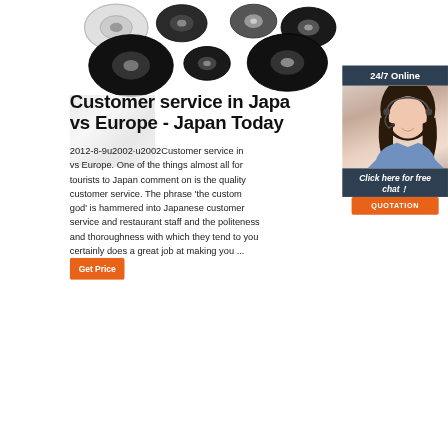[Figure (photo): Product photo showing black rubber wheels/rollers and bearings on white background]
Customer service in Japan vs Europe - Japan Today
2012-8-9u2002·u2002Customer service in Japan vs Europe. One of the things almost all foreign tourists to Japan comment on is the quality of customer service. The phrase 'the customer is god' is hammered into Japanese customer service and restaurant staff and the politeness and thoroughness with which they tend to you certainly does a great job at making you ...
[Figure (illustration): 24/7 Online chat widget with woman wearing headset, 'Click here for free chat!' text and orange QUOTATION button]
Get Price